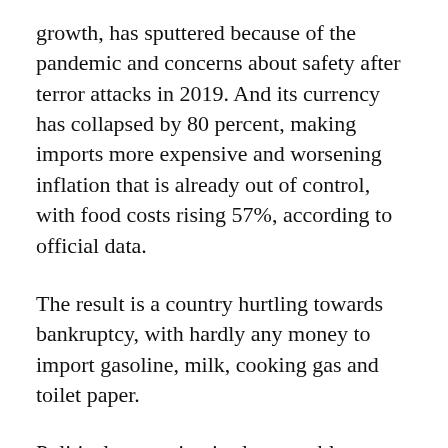growth, has sputtered because of the pandemic and concerns about safety after terror attacks in 2019. And its currency has collapsed by 80 percent, making imports more expensive and worsening inflation that is already out of control, with food costs rising 57%, according to official data.
The result is a country hurtling towards bankruptcy, with hardly any money to import gasoline, milk, cooking gas and toilet paper.
Political corruption is also a problem; not only did it play a role in the country squandering its wealth, but it also complicates any financial rescue for Sri Lanka.